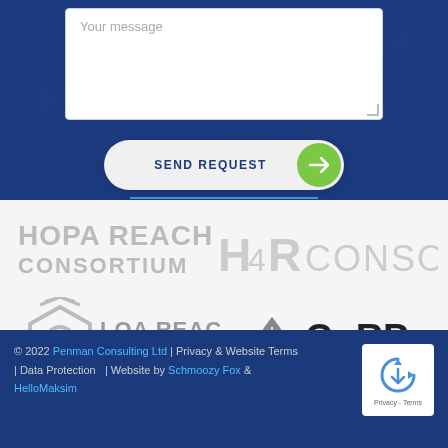[Figure (screenshot): Text area input box with placeholder 'Your message' on dark blue background]
[Figure (screenshot): Send Request button - white pill-shaped button with dark blue text 'SEND REQUEST' and green circle arrow button on right]
[Figure (logo): HOPA REACH CONSORTIUM logo - H4R CONSORTIUM text logos in grey]
[Figure (logo): LOA REACH CONSORTIUM logo with hexagon icon and CoRP CONSORTIUM logo with leaf drop icon]
© 2022 Penman Consulting Ltd | Privacy & Website Terms | Data Protection | Website by Schmoozy Fox & HelloMaksim